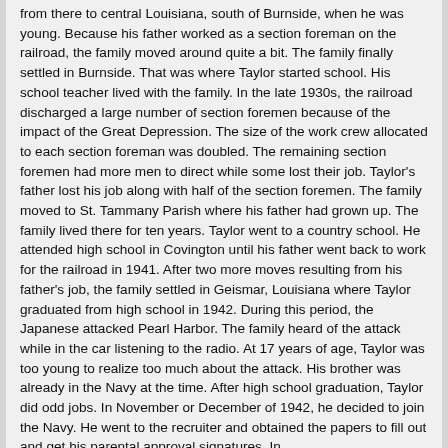from there to central Louisiana, south of Burnside, when he was young. Because his father worked as a section foreman on the railroad, the family moved around quite a bit. The family finally settled in Burnside. That was where Taylor started school. His school teacher lived with the family. In the late 1930s, the railroad discharged a large number of section foremen because of the impact of the Great Depression. The size of the work crew allocated to each section foreman was doubled. The remaining section foremen had more men to direct while some lost their job. Taylor's father lost his job along with half of the section foremen. The family moved to St. Tammany Parish where his father had grown up. The family lived there for ten years. Taylor went to a country school. He attended high school in Covington until his father went back to work for the railroad in 1941. After two more moves resulting from his father's job, the family settled in Geismar, Louisiana where Taylor graduated from high school in 1942. During this period, the Japanese attacked Pearl Harbor. The family heard of the attack while in the car listening to the radio. At 17 years of age, Taylor was too young to realize too much about the attack. His brother was already in the Navy at the time. After high school graduation, Taylor did odd jobs. In November or December of 1942, he decided to join the Navy. He went to the recruiter and obtained the papers to fill out and get his parental approval signatures. In